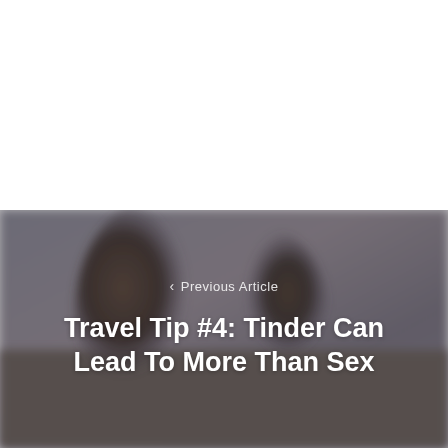[Figure (photo): Blurred photo of two people embracing, with grey/brown background tones. Top half of page is white.]
‹  Previous Article
Travel Tip #4: Tinder Can Lead To More Than Sex